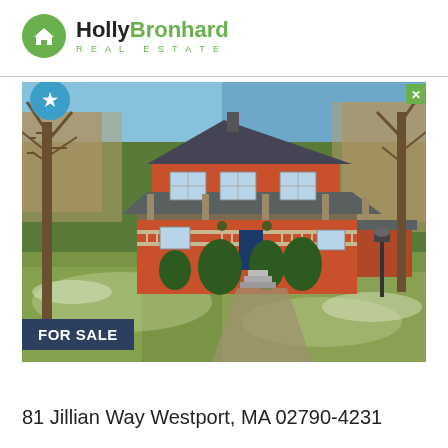[Figure (logo): Holly Bronhard Real Estate logo with green circle icon and company name]
[Figure (photo): Exterior photo of a two-story red colonial-style house with dark roof, front porch with white railings, evergreen shrubs, surrounded by bare deciduous trees, sloped lawn with light frost/snow, sunny winter day. FOR SALE badge in lower left corner.]
81 Jillian Way Westport, MA 02790-4231